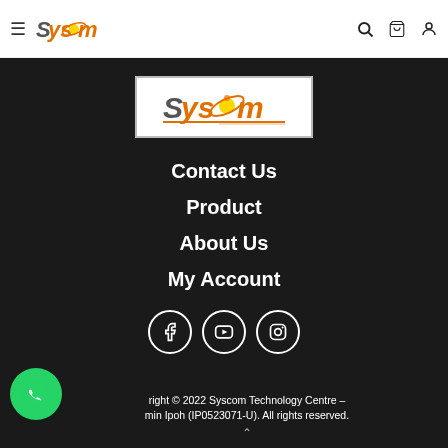≡ Syscom [logo] 🔍 🛒 👤
[Figure (logo): Syscom Technology Centre logo with orange text on white background]
Contact Us
Product
About Us
My Account
[Figure (infographic): Social media icons: Facebook, YouTube, Instagram - white circles with icons]
Copyright © 2022 Syscom Technology Centre - Bandarmin Ipoh (IP0523071-U). All rights reserved.